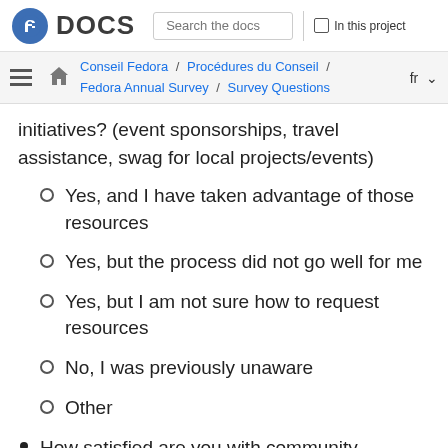DOCS | Search the docs | In this project
Conseil Fedora / Procédures du Conseil / Fedora Annual Survey / Survey Questions | fr
initiatives? (event sponsorships, travel assistance, swag for local projects/events)
Yes, and I have taken advantage of those resources
Yes, but the process did not go well for me
Yes, but I am not sure how to request resources
No, I was previously unaware
Other
How satisfied are you with community outreach within and outside of the Fedora Project?